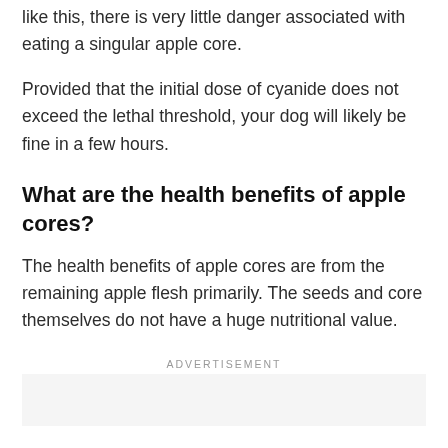the seeds of 200 apples. When the parents content like this, there is very little danger associated with eating a singular apple core.
Provided that the initial dose of cyanide does not exceed the lethal threshold, your dog will likely be fine in a few hours.
What are the health benefits of apple cores?
The health benefits of apple cores are from the remaining apple flesh primarily. The seeds and core themselves do not have a huge nutritional value.
ADVERTISEMENT